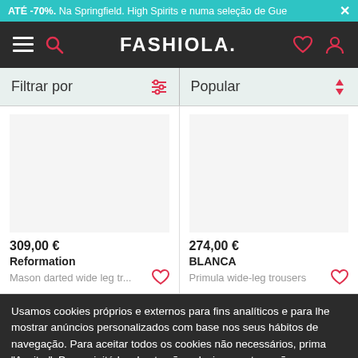ATÉ -70%. Na Springfield. High Spirits e numa seleção de Gue ×
[Figure (logo): Fashiola logo with hamburger menu, search, heart and user icons on dark navbar]
Filtrar por | Popular
309,00 € Reformation Mason darted wide leg tr...
274,00 € BLANCA Primula wide-leg trousers
Usamos cookies próprios e externos para fins analíticos e para lhe mostrar anúncios personalizados com base nos seus hábitos de navegação. Para aceitar todos os cookies não necessários, prima "Aceitar". Para rejeitá-los, basta não selecionar esta opção.
Saiba mais Aceitar